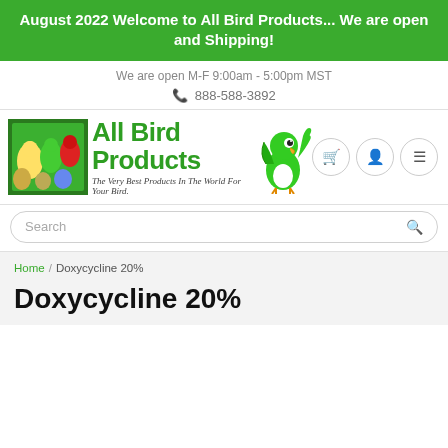August 2022 Welcome to All Bird Products... We are open and Shipping!
We are open M-F 9:00am - 5:00pm MST
📞 888-588-3892
[Figure (logo): All Bird Products logo with parrots photo, green parrot mascot, and tagline 'The Very Best Products In The World For Your Bird.']
Search
Home / Doxycycline 20%
Doxycycline 20%